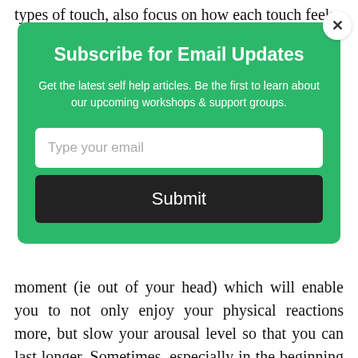types of touch, also focus on how each touch feels
[Figure (screenshot): Email subscription modal overlay with green background. Contains title 'Subscribe for Email Updates', description text, email input field, and Submit button. Has a close (X) button in top right corner.]
moment (ie out of your head) which will enable you to not only enjoy your physical reactions more, but slow your arousal level so that you can last longer. Sometimes, especially in the beginning you may find yourself unable to stop yourself from ejaculating. That is OK.  After ejaculation, end your practice